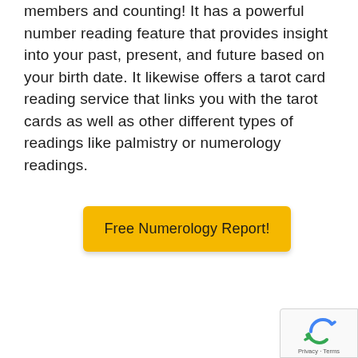members and counting! It has a powerful number reading feature that provides insight into your past, present, and future based on your birth date. It likewise offers a tarot card reading service that links you with the tarot cards as well as other different types of readings like palmistry or numerology readings.
Free Numerology Report!
[Figure (other): Google reCAPTCHA badge in bottom-right corner showing the reCAPTCHA logo and 'Privacy - Terms' text]